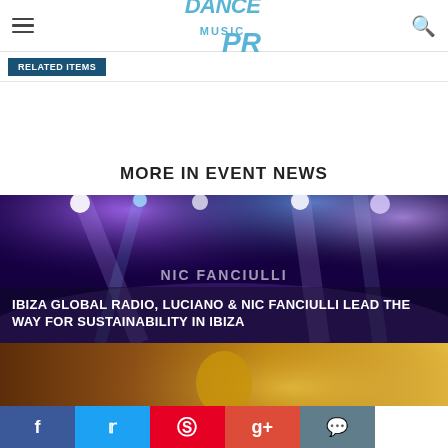Dance Music PR
RELATED ITEMS
MORE IN EVENT NEWS
[Figure (photo): Concert stage with purple lights and smoke; Nic Fanciulli branding visible]
IBIZA GLOBAL RADIO, LUCIANO & NIC FANCIULLI LEAD THE WAY FOR SUSTAINABILITY IN IBIZA
[Figure (photo): Man looking upward in warm golden/amber light]
LOST FREQUENCIES ANNOUNCES LIVE TOUR FOR 2022, ACROSS THE USA, CANADA AND EUROPE THIS AUTUMN/ WINTER!